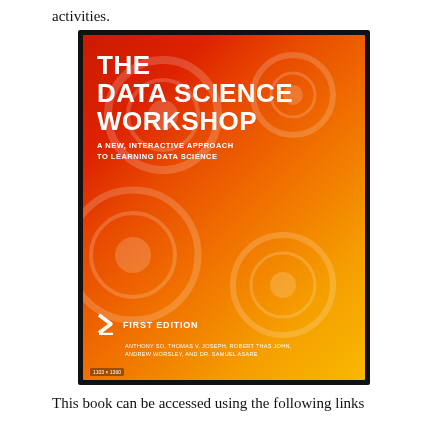activities.
[Figure (photo): Book cover of 'The Data Science Workshop: A New, Interactive Approach to Learning Data Science', First Edition, with a red-to-orange gradient background and gear motifs. Authors: Anthony So, Thomas V. Joseph, Robert Thas John, Andrew Worsley, and Dr. Samuel Asare.]
This book can be accessed using the following links